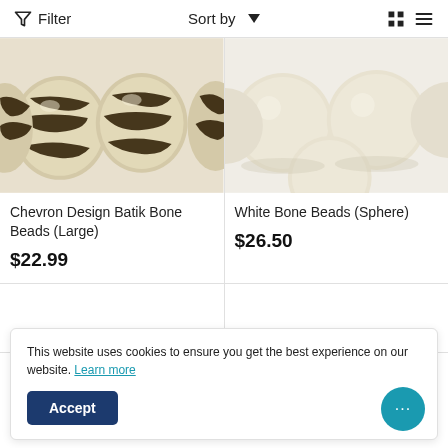Filter  Sort by  [grid view] [list view]
[Figure (photo): Close-up photo of chevron design batik bone beads with black and cream zebra-like striped pattern]
[Figure (photo): Close-up photo of white bone beads (sphere) in cream/ivory color]
Chevron Design Batik Bone Beads (Large)
$22.99
White Bone Beads (Sphere)
$26.50
This website uses cookies to ensure you get the best experience on our website. Learn more
Accept